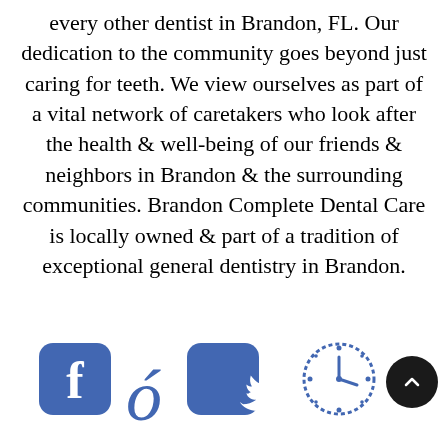every other dentist in Brandon, FL. Our dedication to the community goes beyond just caring for teeth. We view ourselves as part of a vital network of caretakers who look after the health & well-being of our friends & neighbors in Brandon & the surrounding communities. Brandon Complete Dental Care is locally owned & part of a tradition of exceptional general dentistry in Brandon.
[Figure (infographic): Social media and contact icons: Facebook logo (blue rounded square with 'f'), a stylized 'g' character (blue), Twitter bird logo (blue rounded square), a clock icon (blue circle with dotted border), and a dark circular back-to-top arrow button]